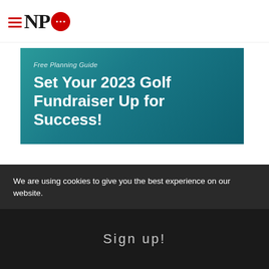NPQ
[Figure (illustration): Teal/dark-green advertisement banner with text: Free Planning Guide — Set Your 2023 Golf Fundraiser Up for Success!]
[Figure (screenshot): White ad box with close button (x), blue text: The nation's leading insurer exclusively serving...]
We are using cookies to give you the best experience on our website.
Sign up!